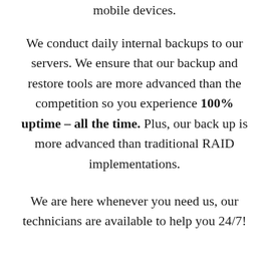mobile devices.
We conduct daily internal backups to our servers. We ensure that our backup and restore tools are more advanced than the competition so you experience 100% uptime – all the time. Plus, our back up is more advanced than traditional RAID implementations.
We are here whenever you need us, our technicians are available to help you 24/7!